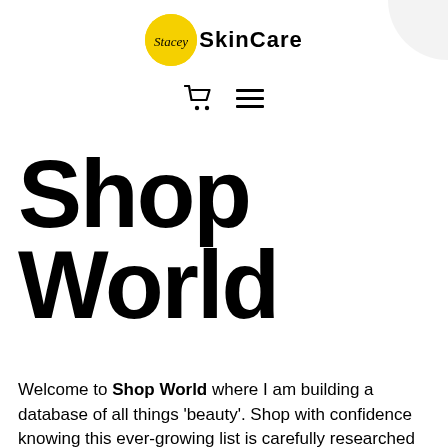[Figure (logo): Stacey SkinCare logo with yellow circle and script text alongside bold 'SkinCare' text]
[Figure (infographic): Navigation icons: shopping cart and hamburger menu]
Shop World
Welcome to Shop World where I am building a database of all things 'beauty'. Shop with confidence knowing this ever-growing list is carefully researched